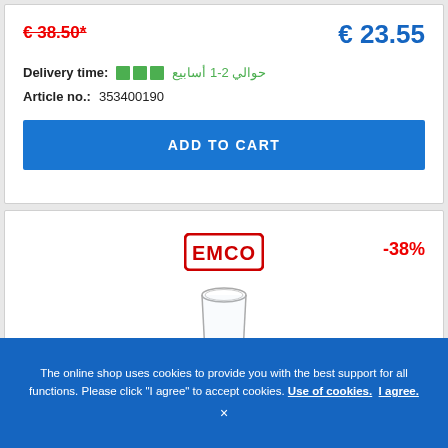€ 38.50*
€ 23.55
Delivery time: حوالي 2-1 أسابيع
Article no.: 353400190
ADD TO CART
[Figure (logo): EMCO brand logo in red block letters with rounded rectangle border]
-38%
[Figure (photo): Tall clear drinking glass (highball glass) on white background]
The online shop uses cookies to provide you with the best support for all functions. Please click "I agree" to accept cookies. Use of cookies. I agree.
×